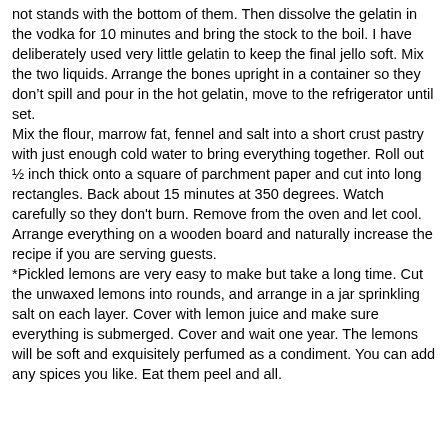not stands with the bottom of them. Then dissolve the gelatin in the vodka for 10 minutes and bring the stock to the boil. I have deliberately used very little gelatin to keep the final jello soft. Mix the two liquids. Arrange the bones upright in a container so they don’t spill and pour in the hot gelatin, move to the refrigerator until set.
Mix the flour, marrow fat, fennel and salt into a short crust pastry with just enough cold water to bring everything together. Roll out ½ inch thick onto a square of parchment paper and cut into long rectangles. Back about 15 minutes at 350 degrees. Watch carefully so they don't burn. Remove from the oven and let cool.
Arrange everything on a wooden board and naturally increase the recipe if you are serving guests.
*Pickled lemons are very easy to make but take a long time. Cut the unwaxed lemons into rounds, and arrange in a jar sprinkling salt on each layer. Cover with lemon juice and make sure everything is submerged. Cover and wait one year. The lemons will be soft and exquisitely perfumed as a condiment. You can add any spices you like. Eat them peel and all.